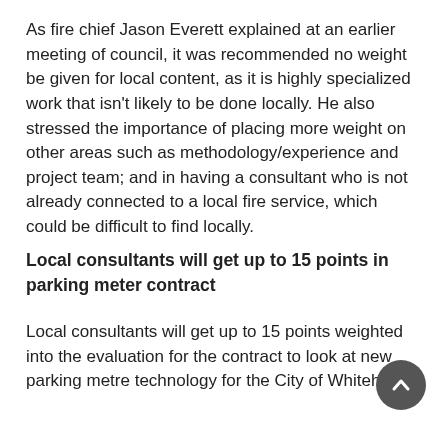As fire chief Jason Everett explained at an earlier meeting of council, it was recommended no weight be given for local content, as it is highly specialized work that isn't likely to be done locally. He also stressed the importance of placing more weight on other areas such as methodology/experience and project team; and in having a consultant who is not already connected to a local fire service, which could be difficult to find locally.
Local consultants will get up to 15 points in parking meter contract
Local consultants will get up to 15 points weighted into the evaluation for the contract to look at new parking metre technology for the City of Whitehorse.